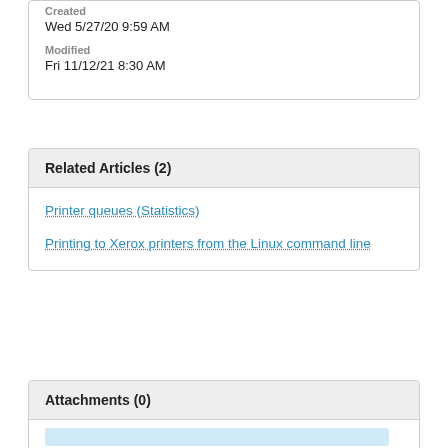Created
Wed 5/27/20 9:59 AM
Modified
Fri 11/12/21 8:30 AM
Related Articles (2)
Printer queues (Statistics)
Printing to Xerox printers from the Linux command line
Attachments (0)